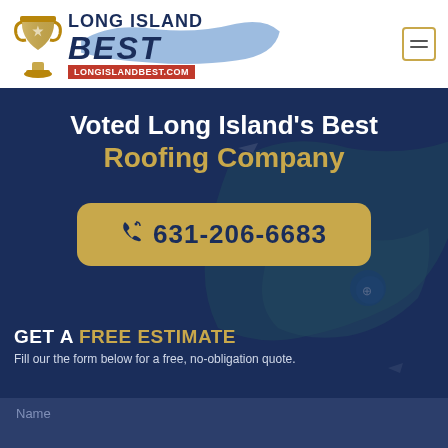[Figure (logo): Long Island Best logo with trophy icon, blue map of Long Island in background, red banner with LONGISLANDBEST.COM, and hamburger menu icon]
Voted Long Island's Best Roofing Company
☎ 631-206-6683
GET A FREE ESTIMATE
Fill our the form below for a free, no-obligation quote.
Name